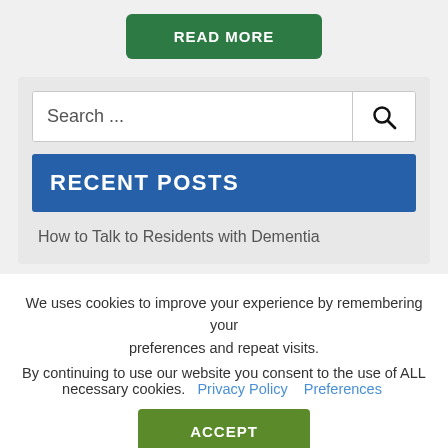READ MORE
[Figure (screenshot): Search input box with magnifying glass icon]
RECENT POSTS
How to Talk to Residents with Dementia
We uses cookies to improve your experience by remembering your preferences and repeat visits.
By continuing to use our website you consent to the use of ALL necessary cookies. Privacy Policy   Preferences
ACCEPT